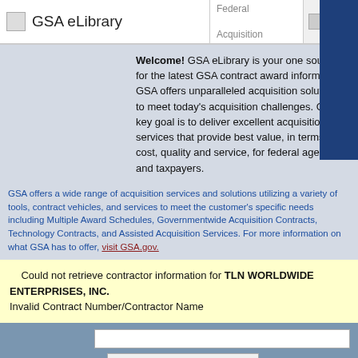GSA eLibrary | GSA Federal Acquisition Service | eBuy -
Welcome! GSA eLibrary is your one source for the latest GSA contract award information. GSA offers unparalleled acquisition solutions to meet today's acquisition challenges. GSA's key goal is to deliver excellent acquisition services that provide best value, in terms of cost, quality and service, for federal agencies and taxpayers.
GSA offers a wide range of acquisition services and solutions utilizing a variety of tools, contract vehicles, and services to meet the customer's specific needs including Multiple Award Schedules, Governmentwide Acquisition Contracts, Technology Contracts, and Assisted Acquisition Services. For more information on what GSA has to offer, visit GSA.gov.
Could not retrieve contractor information for TLN WORLDWIDE ENTERPRISES, INC.
Invalid Contract Number/Contractor Name
enter Keywords, Contract Number, Contractor/Mfr Name,Schedule/SIN/GWAC Number,NAICS
Contractor Directory (a-z)
Total Solution Search
Facilities
Furniture & Furnishings